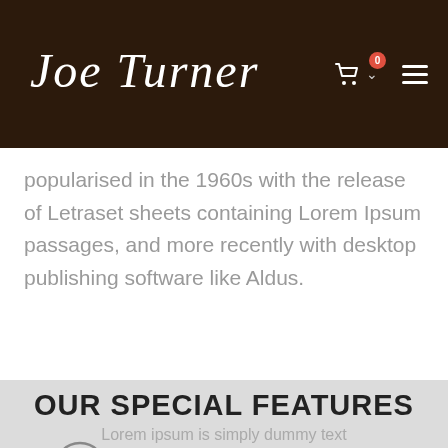Joe Turner — navigation bar with logo, cart icon (0 items), and hamburger menu
popularised in the 1960s with the release of Letraset sheets containing Lorem Ipsum passages, and more recently with desktop publishing software like Aldus.
OUR SPECIAL FEATURES
Lorem ipsum is simply dummy text
[Figure (illustration): A circular 24-hour icon/symbol, partially visible at bottom of page]